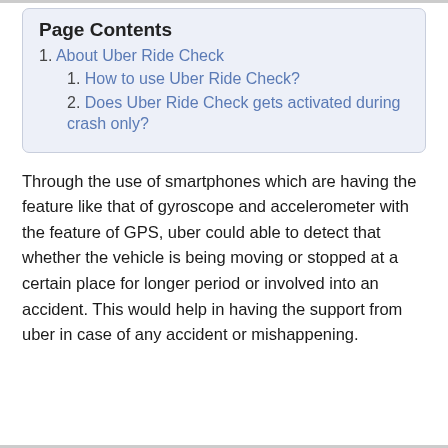Page Contents
1. About Uber Ride Check
1. How to use Uber Ride Check?
2. Does Uber Ride Check gets activated during crash only?
Through the use of smartphones which are having the feature like that of gyroscope and accelerometer with the feature of GPS, uber could able to detect that whether the vehicle is being moving or stopped at a certain place for longer period or involved into an accident. This would help in having the support from uber in case of any accident or mishappening.